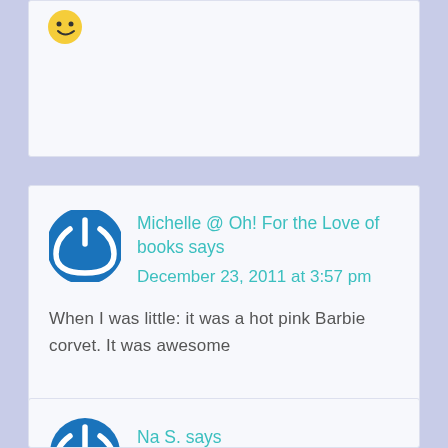[Figure (other): Partial comment card at top with emoji/avatar visible]
Michelle @ Oh! For the Love of books says
December 23, 2011 at 3:57 pm
When I was little: it was a hot pink Barbie corvet. It was awesome
Na S. says